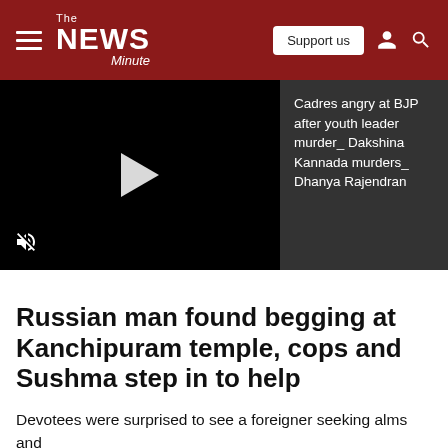The News Minute
[Figure (screenshot): Video player panel showing a black background with a white play button triangle in the center and a mute icon at the bottom left]
Cadres angry at BJP after youth leader murder_ Dakshina Kannada murders_ Dhanya Rajendran
Russian man found begging at Kanchipuram temple, cops and Sushma step in to help
Devotees were surprised to see a foreigner seeking alms and